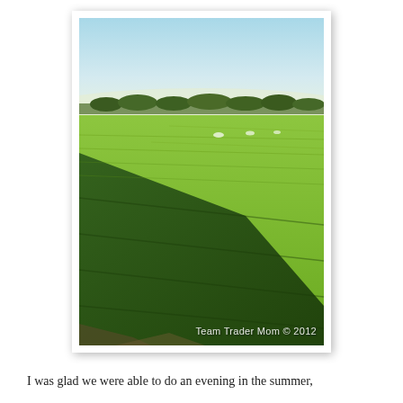[Figure (photo): Aerial or elevated view of a large green agricultural field (likely soybean or similar crop) with a shadow pattern cast across it. The sky is light blue/hazy at the horizon. Trees line the distant edge of the field. Watermark reads 'Team Trader Mom © 2012'.]
I was glad we were able to do an evening in the summer,